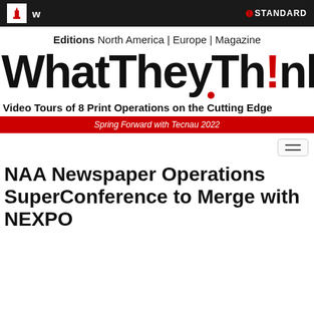W | STANDARD
Editions  North America | Europe | Magazine
WhatTheyTh!nk
Video Tours of 8 Print Operations on the Cutting Edge
Spring Forward with Tecnau 2022
NAA Newspaper Operations SuperConference to Merge with NEXPO